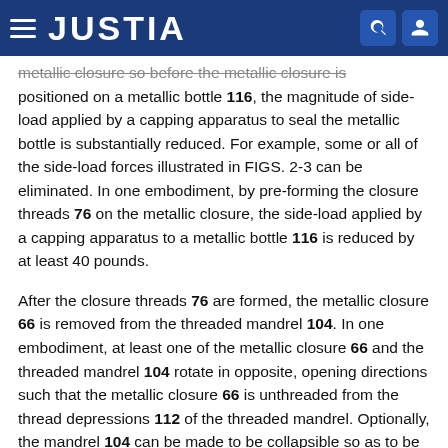JUSTIA
positioned on a metallic bottle 116, the magnitude of side-load applied by a capping apparatus to seal the metallic bottle is substantially reduced. For example, some or all of the side-load forces illustrated in FIGS. 2-3 can be eliminated. In one embodiment, by pre-forming the closure threads 76 on the metallic closure, the side-load applied by a capping apparatus to a metallic bottle 116 is reduced by at least 40 pounds.
After the closure threads 76 are formed, the metallic closure 66 is removed from the threaded mandrel 104. In one embodiment, at least one of the metallic closure 66 and the threaded mandrel 104 rotate in opposite, opening directions such that the metallic closure 66 is unthreaded from the thread depressions 112 of the threaded mandrel. Optionally, the mandrel 104 can be made to be collapsible so as to be removed from the